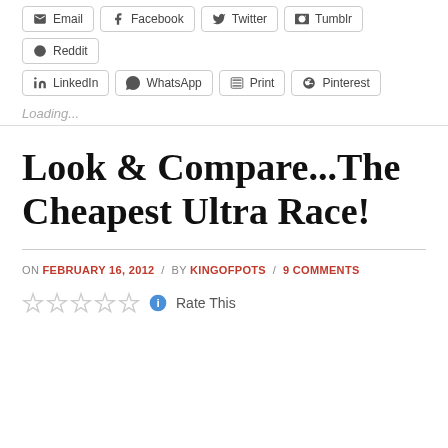Email
Facebook
Twitter
Tumblr
Reddit
LinkedIn
WhatsApp
Print
Pinterest
Loading...
Look & Compare...The Cheapest Ultra Race!
ON FEBRUARY 16, 2012 / BY KINGOFPOTS / 9 COMMENTS
Rate This